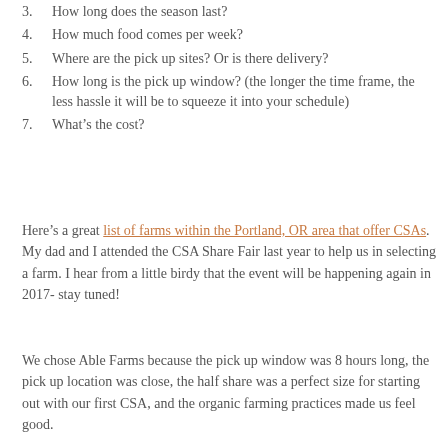3. How long does the season last?
4. How much food comes per week?
5. Where are the pick up sites?  Or is there delivery?
6. How long is the pick up window?  (the longer the time frame, the less hassle it will be to squeeze it into your schedule)
7. What’s the cost?
Here’s a great list of farms within the Portland, OR area that offer CSAs. My dad and I attended the CSA Share Fair last year to help us in selecting a farm.  I hear from a little birdy that the event will be happening again in 2017- stay tuned!
We chose Able Farms because the pick up window was 8 hours long, the pick up location was close, the half share was a perfect size for starting out with our first CSA, and the organic farming practices made us feel good.